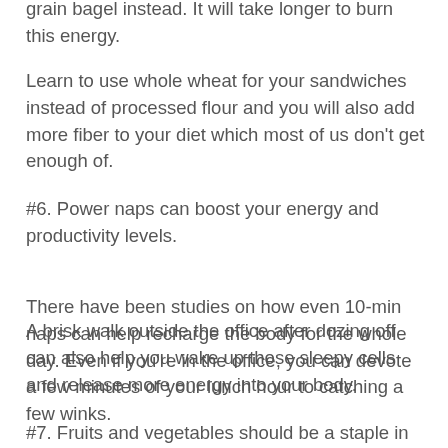grain bagel instead. It will take longer to burn this energy.
Learn to use whole wheat for your sandwiches instead of processed flour and you will also add more fiber to your diet which most of us don't get enough of.
#6. Power naps can boost your energy and productivity levels.
There have been studies on how even 10-min naps can help recharge the body for the whole day. Even if you're in the office, you can devote a few minutes of your lunch hour to catching a few winks.
A brisk walk outside the office after dozing off can also help you wake up those sleepy cells and release more energy into your body.
#7. Fruits and vegetables should be a staple in your daily